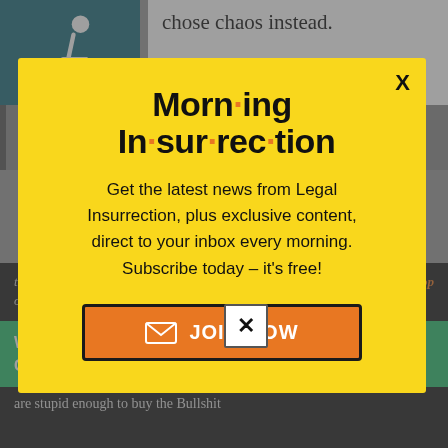chose chaos instead.
And a bunch of people who certainly should have known better stayed at home and let them.
[Figure (illustration): Wheelchair accessibility icon in teal/dark green square background]
[Figure (screenshot): Modal popup overlay with yellow background. Title: Morning Insurrection (with orange dots as bullet separators). Body: Get the latest news from Legal Insurrection, plus exclusive content, direct to your inbox every morning. Subscribe today – it's free! Orange JOIN NOW button with envelope icon.]
the rich pay their fair share" that drove us over the cliff.
Working from home?
Get your projects done on fiverr
are stupid enough to buy the Bullshit